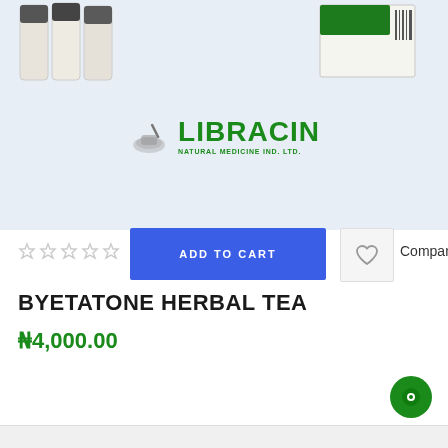[Figure (photo): Product photo area showing herbal tea sticks on left, green product box on right, on light blue-gray background. Libracin Natural Medicine Ind. Ltd. logo centered in lower portion of image area.]
[Figure (logo): Libracin Natural Medicine Ind. Ltd. green logo with mortar and pestle icon]
ADD TO CART
BYETATONE HERBAL TEA
₦4,000.00